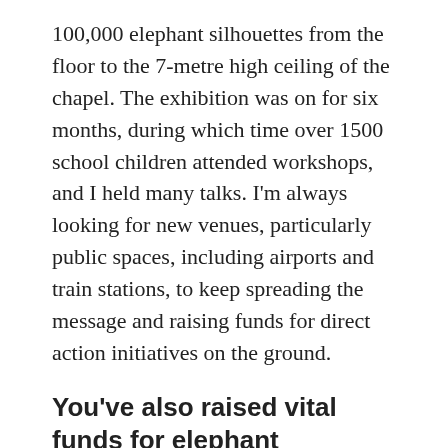100,000 elephant silhouettes from the floor to the 7-metre high ceiling of the chapel. The exhibition was on for six months, during which time over 1500 school children attended workshops, and I held many talks. I'm always looking for new venues, particularly public spaces, including airports and train stations, to keep spreading the message and raising funds for direct action initiatives on the ground.
You've also raised vital funds for elephant conservation over the years. Can you tells us a little more about that?
Navigating the fundraising space in Covid-19